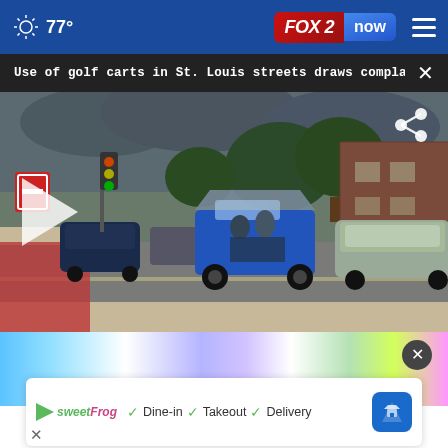77° FOX 2 now
Use of golf carts in St. Louis streets draws complai...
[Figure (photo): A blue multi-passenger golf cart driving on a St. Louis street, with cars parked on both sides, trees and a brick building in background. A play button overlay is visible on the left side, and a share icon in the top right.]
[Figure (photo): Advertisement banner with colorful blurred background (blue, white, purple, green, pink), a close X button, and a sweetFrog ad card showing Dine-in, Takeout, Delivery options.]
✓ Dine-in  ✓ Takeout  ✓ Delivery